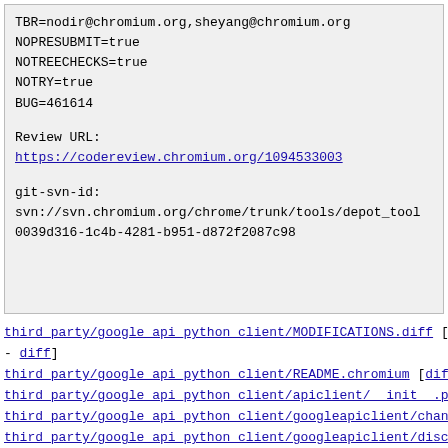TBR=nodir@chromium.org,sheyang@chromium.org
NOPRESUBMIT=true
NOTREECHECKS=true
NOTRY=true
BUG=461614

Review URL:
https://codereview.chromium.org/1094533003

git-svn-id:
svn://svn.chromium.org/chrome/trunk/tools/depot_tool
0039d316-1c4b-4281-b951-d872f2087c98
third_party/google_api_python_client/MODIFICATIONS.diff [Delete - diff]
third_party/google_api_python_client/README.chromium [diff]
third_party/google_api_python_client/apiclient/__init__.py [diff]
third_party/google_api_python_client/googleapiclient/channel.py [d
third_party/google_api_python_client/googleapiclient/discovery.py
third_party/google_api_python_client/googleapiclient/errors.py [diff]
third_party/google_api_python_client/googleapiclient/http.py [diff]
third_party/google_api_python_client/googleapiclient/sample_tool